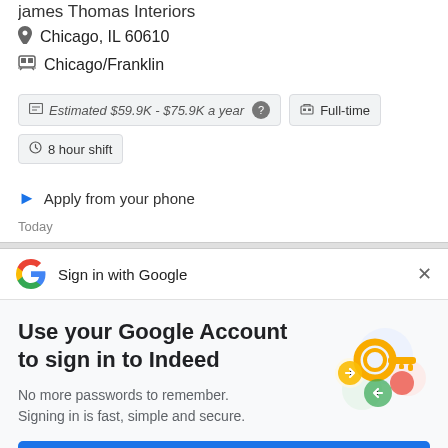James Thomas Interiors (partial, top-cropped)
Chicago, IL 60610
Chicago/Franklin
Estimated $59.9K - $75.9K a year
Full-time
8 hour shift
Apply from your phone
Today
Sign in with Google
Use your Google Account to sign in to Indeed
No more passwords to remember. Signing in is fast, simple and secure.
Continue